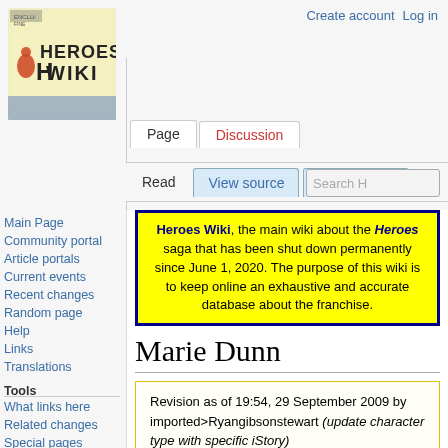Create account  Log in
[Figure (logo): Heroes Wiki logo — yellow/cream background with stylized 'Heroes Wiki' text and a small red/orange figure]
Page  Discussion  Read  View source  View history  Search H
Heroes Wiki, the main wiki about the Heroes saga that has been shut down permanently since June 1, 2020. The purpose of this wiki is to keep online an exhaustive and accurate database about the franchise.
Marie Dunn
Revision as of 19:54, 29 September 2009 by imported>Ryangibsonstewart (update character type with specific iStory)
(diff) ← Older revision | Latest revision (diff) | Newer revision → (diff)
Main Page
Community portal
Article portals
Current events
Recent changes
Random page
Help
Links
Translations
Tools
What links here
Related changes
Special pages
| Marie Dunn |
| --- |